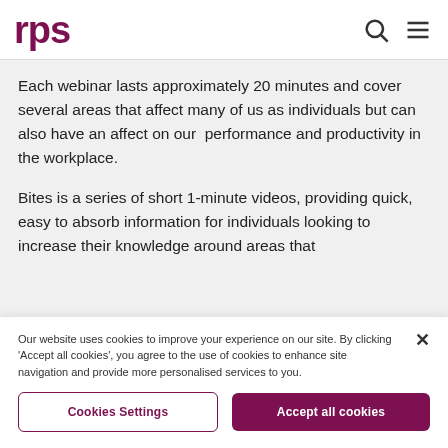[Figure (logo): RPS logo in dark magenta/purple color]
Each webinar lasts approximately 20 minutes and cover several areas that affect many of us as individuals but can also have an affect on our performance and productivity in the workplace.
Bites is a series of short 1-minute videos, providing quick, easy to absorb information for individuals looking to increase their knowledge around areas that
Our website uses cookies to improve your experience on our site. By clicking 'Accept all cookies', you agree to the use of cookies to enhance site navigation and provide more personalised services to you.
Cookies Settings
Accept all cookies